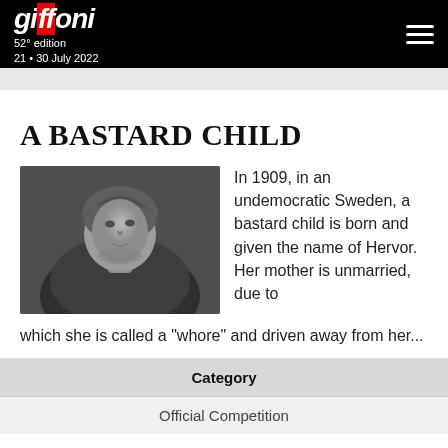GIFFONI 52° edition 21 • 30 July 2022
A BASTARD CHILD
[Figure (photo): Black and white photograph of a woman wearing a headscarf, looking upward, artistic sculpted or photographic style]
In 1909, in an undemocratic Sweden, a bastard child is born and given the name of Hervor. Her mother is unmarried, due to which she is called a "whore" and driven away from her...
| Category |
| --- |
| Official Competition |